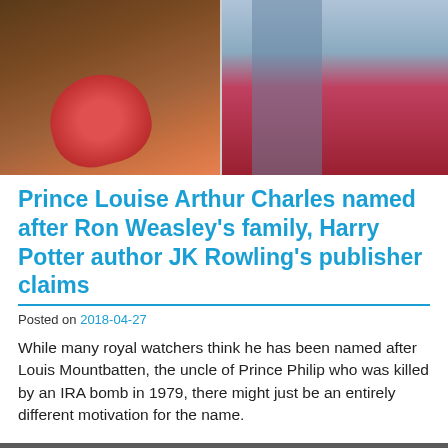[Figure (photo): Two side-by-side photos: left shows a person in brown/tweed clothing holding a red fan-shaped bag; right shows a couple, man in light blue shirt and dark trousers, woman in red dress holding a baby wrapped in white.]
Prince Louise Arthur Charles named after Ron Weasley's family, Harry Potter author JK Rowling's publisher claims
Posted on 2018-04-27
While many royal watchers think he has been named after Louis Mountbatten, the uncle of Prince Philip who was killed by an IRA bomb in 1979, there might just be an entirely different motivation for the name.
[Figure (photo): Partially visible photo below with cookie consent overlay. Shows a blond child's head. Cookie banner reads: We and our partners use cookies on this site to improve our service, perform analytics, personalize advertising, measure advertising performance, and remember website preferences.]
We and our partners use cookies on this site to improve our service, perform analytics, personalize advertising, measure advertising performance, and remember website preferences.